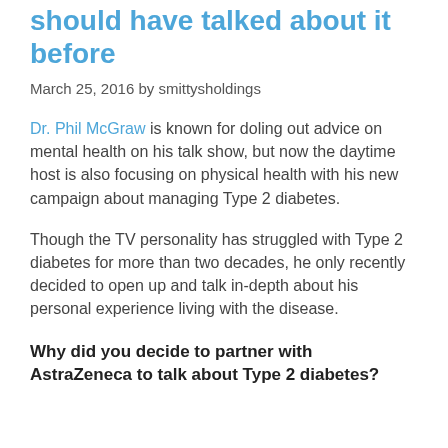should have talked about it before
March 25, 2016 by smittysholdings
Dr. Phil McGraw is known for doling out advice on mental health on his talk show, but now the daytime host is also focusing on physical health with his new campaign about managing Type 2 diabetes.
Though the TV personality has struggled with Type 2 diabetes for more than two decades, he only recently decided to open up and talk in-depth about his personal experience living with the disease.
Why did you decide to partner with AstraZeneca to talk about Type 2 diabetes?